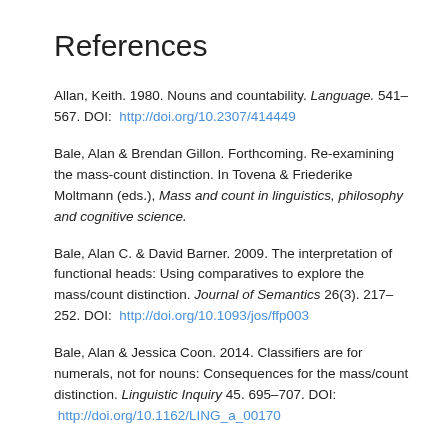References
Allan, Keith. 1980. Nouns and countability. Language. 541–567. DOI: http://doi.org/10.2307/414449
Bale, Alan & Brendan Gillon. Forthcoming. Re-examining the mass-count distinction. In Tovena & Friederike Moltmann (eds.), Mass and count in linguistics, philosophy and cognitive science.
Bale, Alan C. & David Barner. 2009. The interpretation of functional heads: Using comparatives to explore the mass/count distinction. Journal of Semantics 26(3). 217–252. DOI: http://doi.org/10.1093/jos/ffp003
Bale, Alan & Jessica Coon. 2014. Classifiers are for numerals, not for nouns: Consequences for the mass/count distinction. Linguistic Inquiry 45. 695–707. DOI: http://doi.org/10.1162/LING_a_00170
Barner, David & Jesse Snedeker. 2005. Quantity